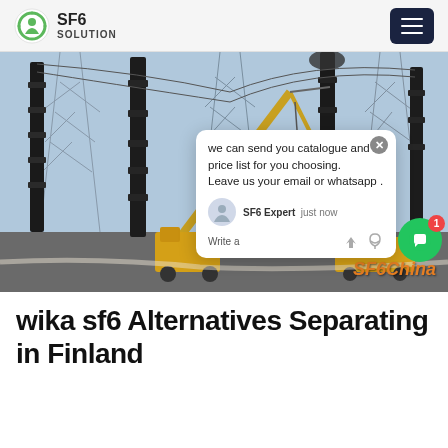SF6 SOLUTION
[Figure (photo): Electrical substation construction site with tall black insulators/bushings, lattice steel towers, yellow cranes and construction vehicles. Chat popup overlay visible. SF6China watermark in orange at bottom right.]
wika sf6 Alternatives Separating in Finland